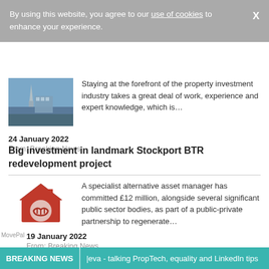By using this website, you agree to our use of cookies to enhance your experience.
Staying at the forefront of the property investment industry takes a great deal of work, experience and expert knowledge, which is...
24 January 2022
From: Breaking News
Big investment in landmark Stockport BTR redevelopment project
A specialist alternative asset manager has committed £12 million, alongside several significant public sector bodies, as part of a public-private partnership to regenerate...
19 January 2022
From: Breaking News
BREAKING NEWS  |eva - talking PropTech, equality and LinkedIn tips